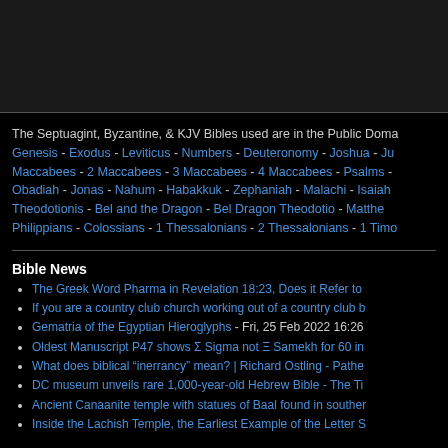The Septuagint, Byzantine, & KJV Bibles used are in the Public Domain. Genesis - Exodus - Leviticus - Numbers - Deuteronomy - Joshua - Ju... 1 Maccabees - 2 Maccabees - 3 Maccabees - 4 Maccabees - Psalms - ... Obadiah - Jonas - Nahum - Habakkuk - Zephaniah - Malachi - Isaiah ... Theodotionis - Bel and the Dragon - Bel Dragon Theodotio - Matthew... Philippians - Colossians - 1 Thessalonians - 2 Thessalonians - 1 Timo...
Bible News
The Greek Word Pharma in Revelation 18:23, Does it Refer to...
If you are a country club church working out of a country club b...
Gematria of the Egyptian Hieroglyphs - Fri, 25 Feb 2022 16:26...
Oldest Manuscript P47 shows Σ Sigma not Ξ Samekh for 60 in...
What does biblical "inerrancy" mean? | Richard Ostling - Pathe...
DC museum unveils rare 1,000-year-old Hebrew Bible - The Ti...
Ancient Canaanite temple with statues of Baal found in souther...
Inside the Lachish Temple, the Earliest Example of the Letter S...